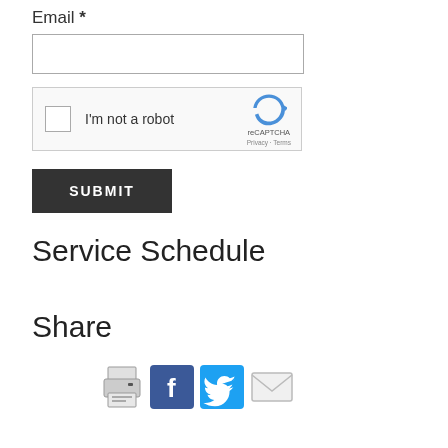Email *
[Figure (screenshot): Email text input field (empty)]
[Figure (screenshot): reCAPTCHA widget with checkbox and 'I'm not a robot' label]
[Figure (screenshot): SUBMIT button, dark background with white text]
Service Schedule
Share
[Figure (infographic): Share icons: printer, Facebook, Twitter, email]